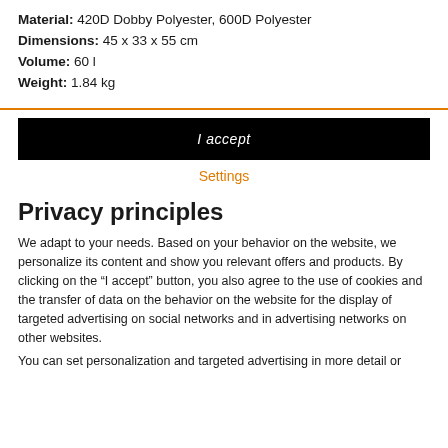Material: 420D Dobby Polyester, 600D Polyester
Dimensions: 45 x 33 x 55 cm
Volume: 60 l
Weight: 1.84 kg
I accept
Settings
Privacy principles
We adapt to your needs. Based on your behavior on the website, we personalize its content and show you relevant offers and products. By clicking on the "I accept" button, you also agree to the use of cookies and the transfer of data on the behavior on the website for the display of targeted advertising on social networks and in advertising networks on other websites.
You can set personalization and targeted advertising in more detail or